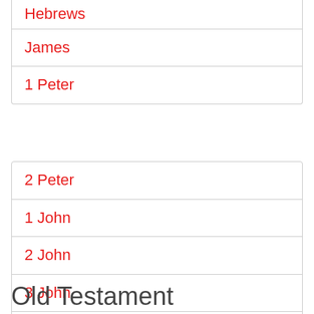Hebrews
James
1 Peter
2 Peter
1 John
2 John
3 John
Jude
Revelation
Old Testament